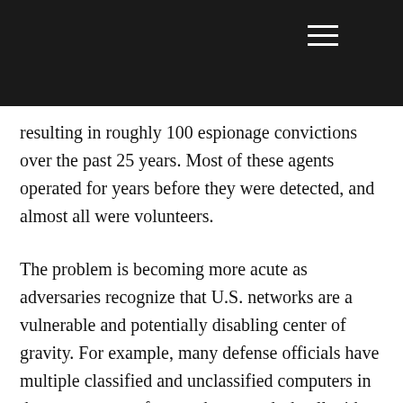resulting in roughly 100 espionage convictions over the past 25 years. Most of these agents operated for years before they were detected, and almost all were volunteers.
The problem is becoming more acute as adversaries recognize that U.S. networks are a vulnerable and potentially disabling center of gravity. For example, many defense officials have multiple classified and unclassified computers in the same room, often on the same desk, all with open input-output devices. These individuals have few constraints to prevent them from downloading and